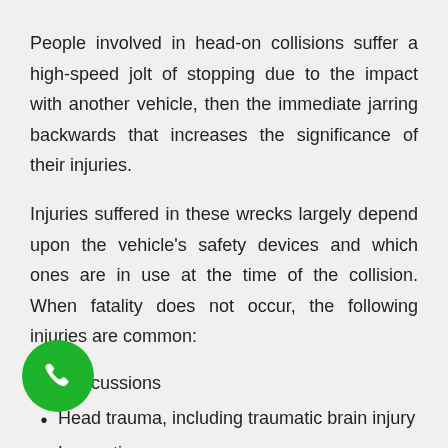People involved in head-on collisions suffer a high-speed jolt of stopping due to the impact with another vehicle, then the immediate jarring backwards that increases the significance of their injuries.
Injuries suffered in these wrecks largely depend upon the vehicle's safety devices and which ones are in use at the time of the collision. When fatality does not occur, the following injuries are common:
Concussions
Head trauma, including traumatic brain injury
Lacerations
Fractured bones
Contusions
Whiplash